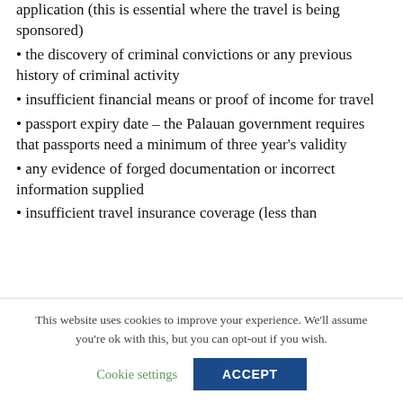application (this is essential where the travel is being sponsored)
the discovery of criminal convictions or any previous history of criminal activity
insufficient financial means or proof of income for travel
passport expiry date – the Palauan government requires that passports need a minimum of three year's validity
any evidence of forged documentation or incorrect information supplied
insufficient travel insurance coverage (less than
This website uses cookies to improve your experience. We'll assume you're ok with this, but you can opt-out if you wish.
Cookie settings   ACCEPT